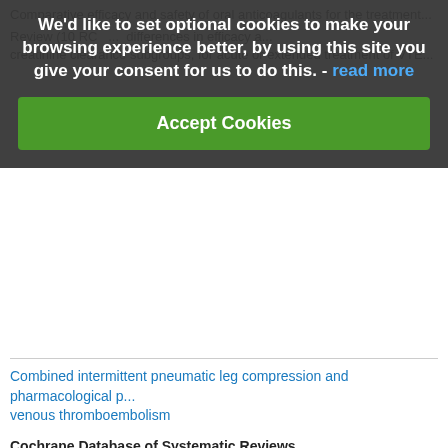Comparative efficacy and safety of oral anticoagulants for the treatment...
Review (10 RC... differences in efficacy... creatinine clearance subgroups, for acute or extended treatment of VTE...
We'd like to set optional cookies to make your browsing experience better, by using this site you give your consent for us to do this. - read more
Accept Cookies
Combined intermittent pneumatic leg compression and pharmacological p... venous thromboembolism
Cochrane Database of Systematic Reviews
Review (34 studies; n=14,931) found combining intermittent pneumatic le... pharmacological prophylaxis (PP) reduces incidence of PE & DVT vs. IPC [LCE]). Compared to PP alone, it also reduces incidence of PE(LCE) & D...
Oral antiplatelet therapy for acute ischaemic stroke
Cochrane Database of Systematic Reviews
Updated review (11 studies, n=42,226) found antiplatelet therapy with asp... within 48 hours significantly decreased death & dependency, and reduced... without a major risk of early haemorrhagic complications.